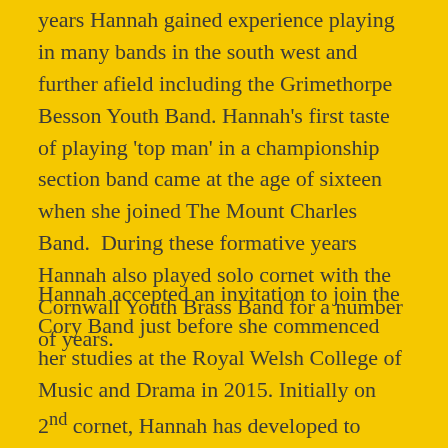years Hannah gained experience playing in many bands in the south west and further afield including the Grimethorpe Besson Youth Band. Hannah's first taste of playing 'top man' in a championship section band came at the age of sixteen when she joined The Mount Charles Band.  During these formative years Hannah also played solo cornet with the Cornwall Youth Brass Band for a number of years.
Hannah accepted an invitation to join the Cory Band just before she commenced her studies at the Royal Welsh College of Music and Drama in 2015. Initially on 2nd cornet, Hannah has developed to playing Repiano Cornet and is the bands deputy Principal